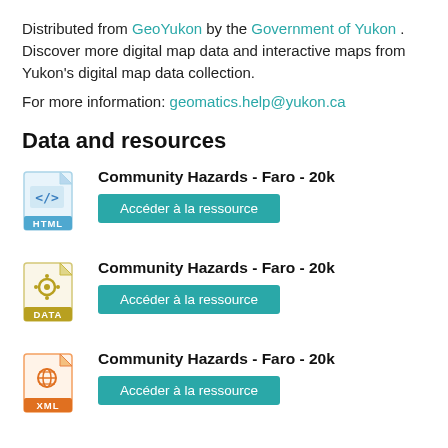Distributed from GeoYukon by the Government of Yukon . Discover more digital map data and interactive maps from Yukon's digital map data collection.
For more information: geomatics.help@yukon.ca
Data and resources
Community Hazards - Faro - 20k [HTML] Accéder à la ressource
Community Hazards - Faro - 20k [DATA] Accéder à la ressource
Community Hazards - Faro - 20k [XML] Accéder à la ressource